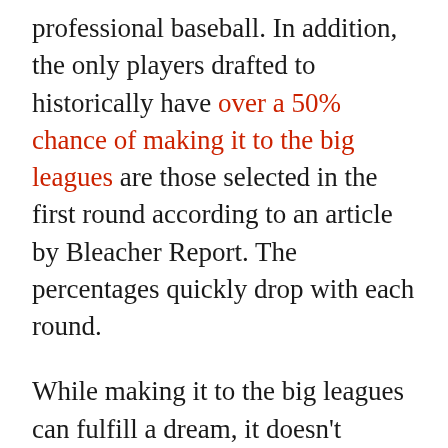professional baseball. In addition, the only players drafted to historically have over a 50% chance of making it to the big leagues are those selected in the first round according to an article by Bleacher Report. The percentages quickly drop with each round.
While making it to the big leagues can fulfill a dream, it doesn't necessarily guarantee filling up a bank account enough to walk away from the game never needing to work again. According to a study done in the last decade, the average MLB rookie will have a career between 5-6 years. Obviously, averages don't tell the full story. For every player that makes it